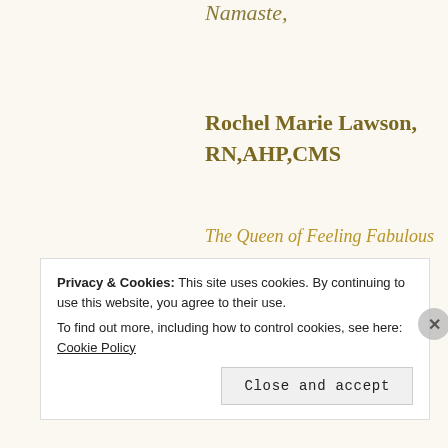Namaste,
Rochel Marie Lawson, RN,AHP,CMS
The Queen of Feeling Fabulous
Host of Blissful Living Show
Privacy & Cookies: This site uses cookies. By continuing to use this website, you agree to their use. To find out more, including how to control cookies, see here: Cookie Policy Close and accept